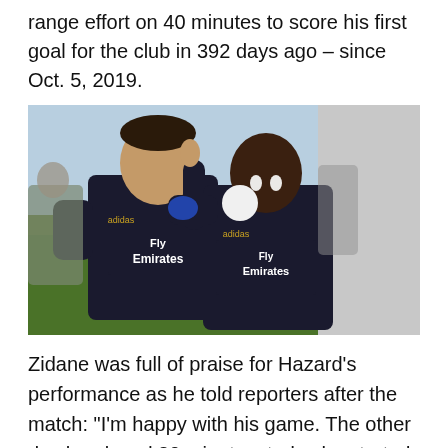range effort on 40 minutes to score his first goal for the club in 392 days ago – since Oct. 5, 2019.
[Figure (photo): Two Real Madrid players in black Fly Emirates training jerseys posing together smiling, one pointing finger up, on a grass training ground]
Zidane was full of praise for Hazard's performance as he told reporters after the match: "I'm happy with his game. The other day he played 20 minutes, today he started. Lit